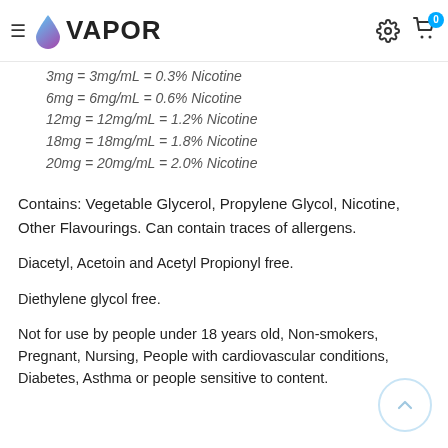VAPOR
3mg = 3mg/mL = 0.3% Nicotine
6mg = 6mg/mL = 0.6% Nicotine
12mg = 12mg/mL = 1.2% Nicotine
18mg = 18mg/mL = 1.8% Nicotine
20mg = 20mg/mL = 2.0% Nicotine
Contains: Vegetable Glycerol, Propylene Glycol, Nicotine, Other Flavourings. Can contain traces of allergens.
Diacetyl, Acetoin and Acetyl Propionyl free.
Diethylene glycol free.
Not for use by people under 18 years old, Non-smokers, Pregnant, Nursing, People with cardiovascular conditions, Diabetes, Asthma or people sensitive to content.